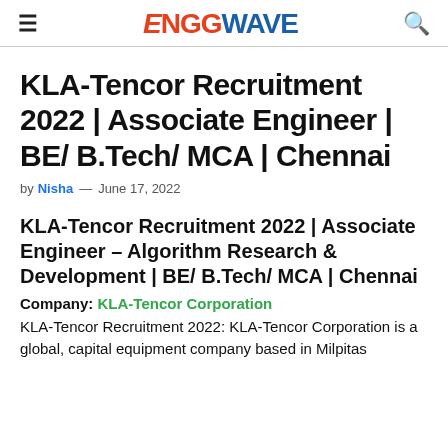ENGGWAVE
KLA-Tencor Recruitment 2022 | Associate Engineer | BE/ B.Tech/ MCA | Chennai
by Nisha — June 17, 2022
KLA-Tencor Recruitment 2022 | Associate Engineer – Algorithm Research & Development | BE/ B.Tech/ MCA | Chennai
Company: KLA-Tencor Corporation
KLA-Tencor Recruitment 2022: KLA-Tencor Corporation is a global, capital equipment company based in Milpitas